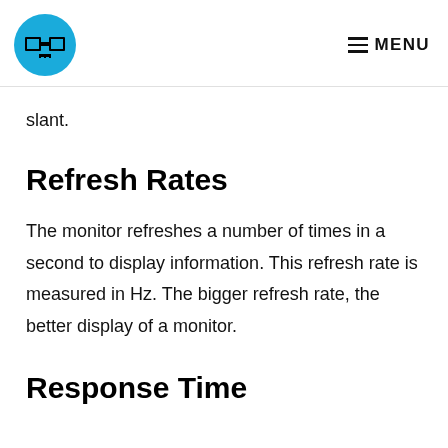MENU
slant.
Refresh Rates
The monitor refreshes a number of times in a second to display information. This refresh rate is measured in Hz. The bigger refresh rate, the better display of a monitor.
Response Time